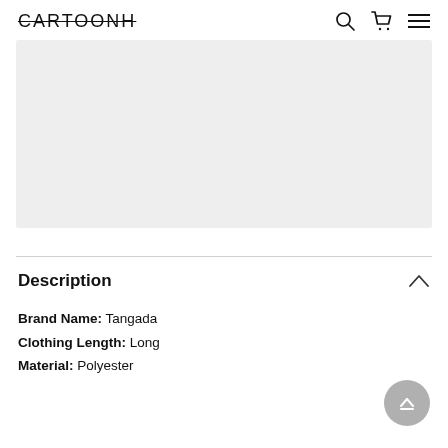CARTOONH
[Figure (photo): Product image placeholder, light grey rectangle]
Description
Brand Name: Tangada
Clothing Length: Long
Material: Polyester